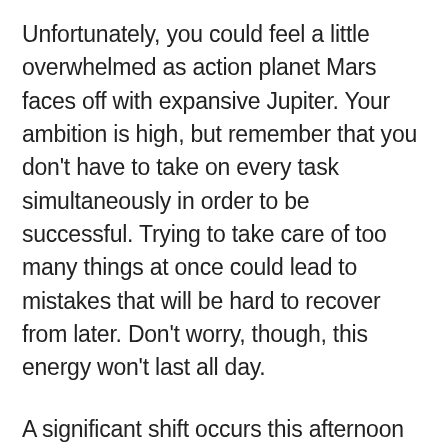Unfortunately, you could feel a little overwhelmed as action planet Mars faces off with expansive Jupiter. Your ambition is high, but remember that you don't have to take on every task simultaneously in order to be successful. Trying to take care of too many things at once could lead to mistakes that will be hard to recover from later. Don't worry, though, this energy won't last all day.
A significant shift occurs this afternoon when Mars moves into efficient Virgo, adding an element of organization to our lives. If you feel like you've been a bit messy with your goals and